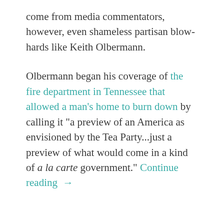come from media commentators, however, even shameless partisan blowhards like Keith Olbermann.
Olbermann began his coverage of the fire department in Tennessee that allowed a man's home to burn down by calling it "a preview of an America as envisioned by the Tea Party...just a preview of what would come in a kind of a la carte government." Continue reading →